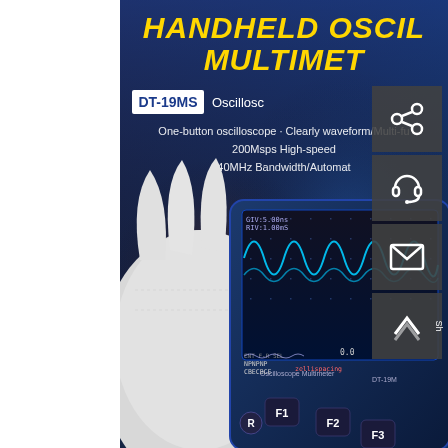[Figure (photo): Product page for DT-19MS Handheld Oscilloscope Multimeter. Dark blue gradient background showing text overlay with title 'HANDHELD OSCILLOSCOPE MULTIMETER', model badge 'DT-19MS', features listed including 'One-button oscilloscope', '200Msps High-speed sampling', '40MHz Bandwidth/Automatic'. A hand wearing a white glove holds the handheld device showing oscilloscope waveforms on screen. Social media share icons (share, headset/support, email, scroll-to-top) overlaid on right side. Left portion of page is white margin.]